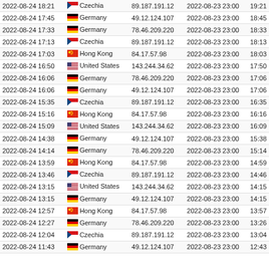| Date | Country | IP | Ref Date | Time |
| --- | --- | --- | --- | --- |
| 2022-08-24 18:21 | Czechia | 89.187.191.12 | 2022-08-23 23:00 | 19:21 |
| 2022-08-24 17:45 | Germany | 49.12.124.107 | 2022-08-23 23:00 | 18:45 |
| 2022-08-24 17:33 | Germany | 78.46.209.220 | 2022-08-23 23:00 | 18:33 |
| 2022-08-24 17:13 | Czechia | 89.187.191.12 | 2022-08-23 23:00 | 18:13 |
| 2022-08-24 17:03 | Hong Kong | 84.17.57.98 | 2022-08-23 23:00 | 18:03 |
| 2022-08-24 16:50 | United States | 143.244.34.62 | 2022-08-23 23:00 | 17:50 |
| 2022-08-24 16:06 | Germany | 78.46.209.220 | 2022-08-23 23:00 | 17:06 |
| 2022-08-24 16:06 | Germany | 49.12.124.107 | 2022-08-23 23:00 | 17:06 |
| 2022-08-24 15:35 | Czechia | 89.187.191.12 | 2022-08-23 23:00 | 16:35 |
| 2022-08-24 15:16 | Hong Kong | 84.17.57.98 | 2022-08-23 23:00 | 16:16 |
| 2022-08-24 15:09 | United States | 143.244.34.62 | 2022-08-23 23:00 | 16:09 |
| 2022-08-24 14:38 | Germany | 49.12.124.107 | 2022-08-23 23:00 | 15:38 |
| 2022-08-24 14:14 | Germany | 78.46.209.220 | 2022-08-23 23:00 | 15:14 |
| 2022-08-24 13:59 | Hong Kong | 84.17.57.98 | 2022-08-23 23:00 | 14:59 |
| 2022-08-24 13:46 | Czechia | 89.187.191.12 | 2022-08-23 23:00 | 14:46 |
| 2022-08-24 13:15 | United States | 143.244.34.62 | 2022-08-23 23:00 | 14:15 |
| 2022-08-24 13:15 | Germany | 49.12.124.107 | 2022-08-23 23:00 | 14:15 |
| 2022-08-24 12:57 | Hong Kong | 84.17.57.98 | 2022-08-23 23:00 | 13:57 |
| 2022-08-24 12:27 | Germany | 78.46.209.220 | 2022-08-23 23:00 | 13:26 |
| 2022-08-24 12:04 | Czechia | 89.187.191.12 | 2022-08-23 23:00 | 13:04 |
| 2022-08-24 11:43 | Germany | 49.12.124.107 | 2022-08-23 23:00 | 12:43 |